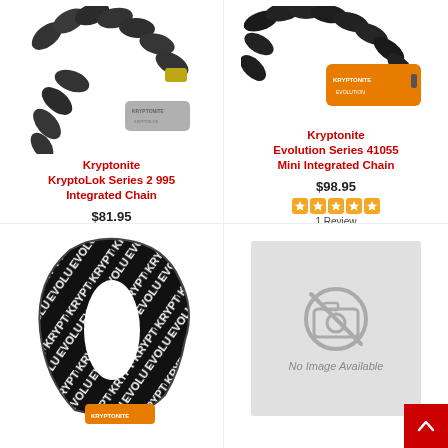[Figure (photo): Kryptonite KryptoLok Series 2 995 Integrated Chain lock product photo - black chain with grey lock cylinder]
Kryptonite
KryptoLok Series 2 995
Integrated Chain
$81.95
[Figure (photo): Kryptonite Evolution Series 41055 Mini Integrated Chain lock product photo - black chain with orange lock body]
Kryptonite
Evolution Series 41055
Mini Integrated Chain
$98.95
1 Review
[Figure (photo): Kryptonite chain lock product photo - black and white chain with orange Kryptonite lock]
[Figure (photo): No Image Available placeholder with camera icon]